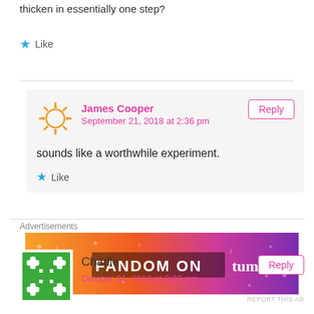thicken in essentially one step?
Like
James Cooper
September 21, 2018 at 2:36 pm
Reply
sounds like a worthwhile experiment.
Like
Advertisements
[Figure (infographic): Fandom on Tumblr banner advertisement with orange to purple gradient background and decorative icons]
REPORT THIS AD
Charlie
Reply
October 31, 2018 at 3:32 pm